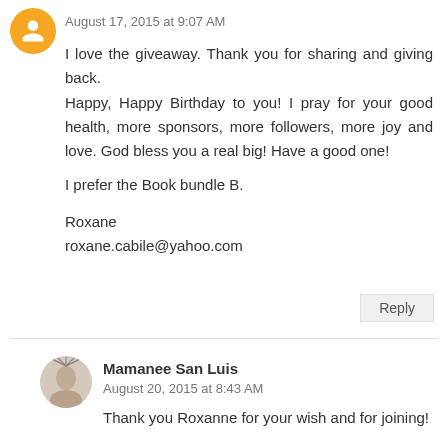August 17, 2015 at 9:07 AM
I love the giveaway. Thank you for sharing and giving back.
Happy, Happy Birthday to you! I pray for your good health, more sponsors, more followers, more joy and love. God bless you a real big! Have a good one!

I prefer the Book bundle B.

Roxane
roxane.cabile@yahoo.com
Reply
Mamanee San Luis
August 20, 2015 at 8:43 AM
Thank you Roxanne for your wish and for joining!